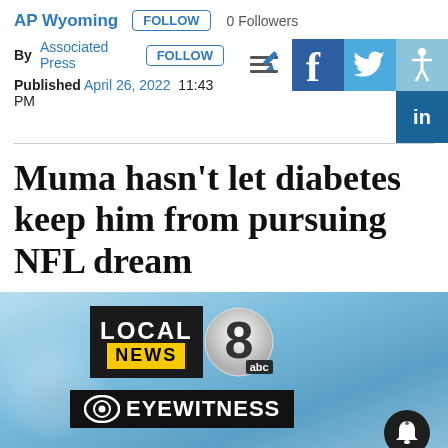AP Wyoming  FOLLOW  0 Followers
By Associated Press  FOLLOW  Published April 26, 2022  11:43 PM
Muma hasn’t let diabetes keep him from pursuing NFL dream
[Figure (screenshot): Video thumbnail showing Local 8 News ABC and CBS Eyewitness News logos on a blue background, with a bell notification icon]